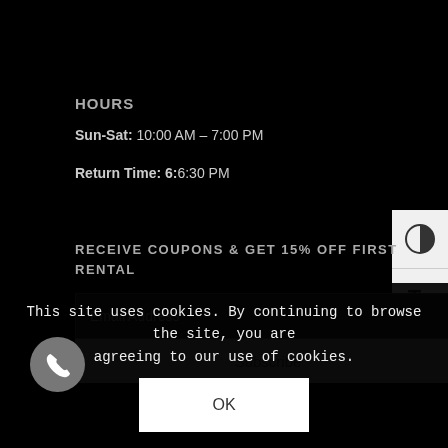HOURS
Sun-Sat: 10:00 AM – 7:00 PM
Return Time: 6:6:30 PM
RECEIVE COUPONS & GET 15% OFF FIRST RENTAL
Email Address*
Subscribe
This site uses cookies. By continuing to browse the site, you are agreeing to our use of cookies.
OK